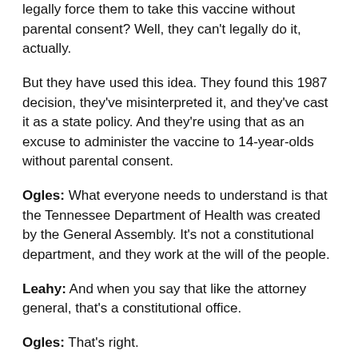legally force them to take this vaccine without parental consent? Well, they can't legally do it, actually.
But they have used this idea. They found this 1987 decision, they've misinterpreted it, and they've cast it as a state policy. And they're using that as an excuse to administer the vaccine to 14-year-olds without parental consent.
Ogles: What everyone needs to understand is that the Tennessee Department of Health was created by the General Assembly. It's not a constitutional department, and they work at the will of the people.
Leahy: And when you say that like the attorney general, that's a constitutional office.
Ogles: That's right.
Leahy: But the Tennessee Department of Health is not a constitutional office.